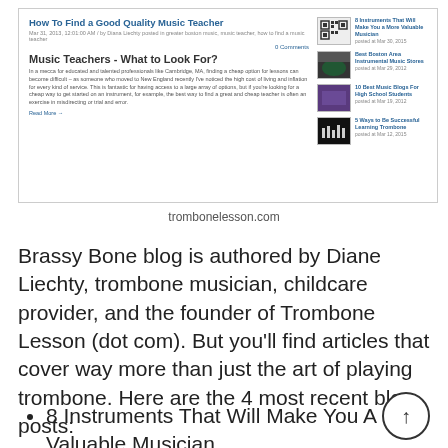[Figure (screenshot): Screenshot of trombonelesson.com blog page showing 'How To Find a Good Quality Music Teacher' post with sidebar showing 4 recent posts with thumbnails: '8 Instruments That Will Make You a More Valuable Musician', 'Best Boston Area Instrumental Music Stores', '10 Best Music Blogs For High School Students', '5 Ways to Be Successful Learning Trombone']
trombonelesson.com
Brassy Bone blog is authored by Diane Liechty, trombone musician, childcare provider, and the founder of Trombone Lesson (dot com). But you'll find articles that cover way more than just the art of playing trombone. Here are the 4 most recent blog posts:
8 Instruments That Will Make You A More Valuable Musician